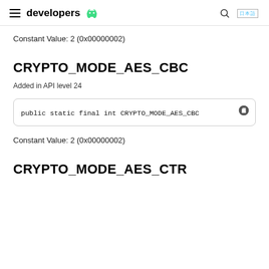developers
Constant Value: 2 (0x00000002)
CRYPTO_MODE_AES_CBC
Added in API level 24
public static final int CRYPTO_MODE_AES_CBC
Constant Value: 2 (0x00000002)
CRYPTO_MODE_AES_CTR